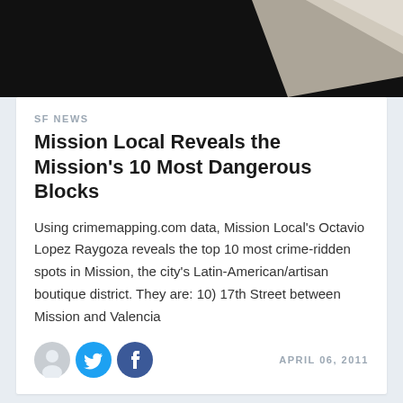[Figure (photo): Dark/black background image with light colored angular shapes, partially cropped at top]
SF NEWS
Mission Local Reveals the Mission's 10 Most Dangerous Blocks
Using crimemapping.com data, Mission Local's Octavio Lopez Raygoza reveals the top 10 most crime-ridden spots in Mission, the city's Latin-American/artisan boutique district. They are: 10) 17th Street between Mission and Valencia
[Figure (infographic): Social sharing icons: user avatar circle, Twitter bird icon (blue), Facebook F icon (dark blue)]
APRIL 06, 2011
Subscribe to SFist - San